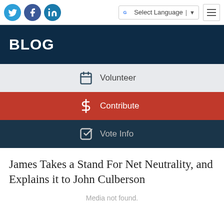Social icons (Twitter, Facebook, LinkedIn), Select Language, Menu
BLOG
Volunteer
Contribute
Vote Info
James Takes a Stand For Net Neutrality, and Explains it to John Culberson
Media not found.